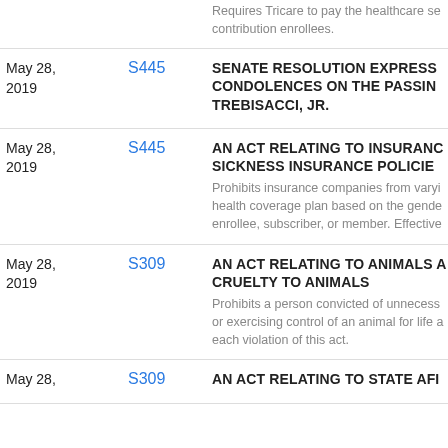| Date | Bill | Description |
| --- | --- | --- |
|  |  | Requires Tricare to pay the healthcare se... contribution enrollees. |
| May 28, 2019 | S445 | SENATE RESOLUTION EXPRESS... CONDOLENCES ON THE PASSIN... TREBISACCI, JR. |
| May 28, 2019 | S445 | AN ACT RELATING TO INSURANC... SICKNESS INSURANCE POLICIE... Prohibits insurance companies from varyi... health coverage plan based on the gende... enrollee, subscriber, or member. Effective... |
| May 28, 2019 | S309 | AN ACT RELATING TO ANIMALS A... CRUELTY TO ANIMALS Prohibits a person convicted of unnecess... or exercising control of an animal for life a... each violation of this act. |
| May 28, | S309 | AN ACT RELATING TO STATE AFI... |